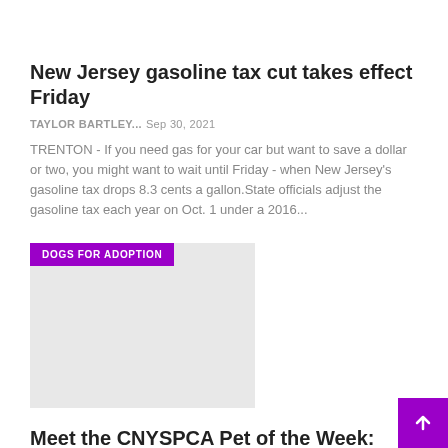New Jersey gasoline tax cut takes effect Friday
TAYLOR BARTLEY...  Sep 30, 2021
TRENTON - If you need gas for your car but want to save a dollar or two, you might want to wait until Friday - when New Jersey's gasoline tax drops 8.3 cents a gallon.State officials adjust the gasoline tax each year on Oct. 1 under a 2016...
[Figure (photo): Image placeholder with 'DOGS FOR ADOPTION' category tag overlay in purple]
Meet the CNYSPCA Pet of the Week: Finnigan
TAYLOR BARTLEY...  Sep 30, 2021